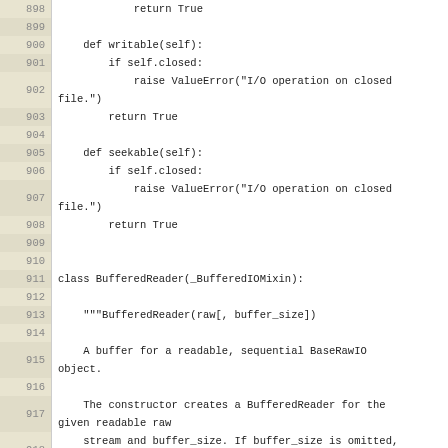Source code listing, lines 898-924, Python BufferedReader class implementation